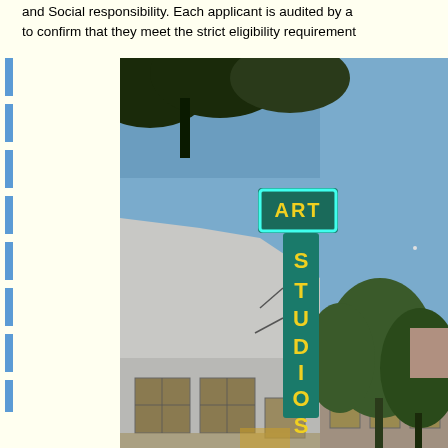and Social Responsibility. Each applicant is audited by a to confirm that they meet the strict eligibility requirement
[Figure (photo): Exterior photo of an Art Studios building at dusk/twilight. A tall vertical sign reads 'ART STUDIOS' in yellow letters on a teal/green background with a neon blue border on the top 'ART' portion. The building is white/grey stucco, with trees silhouetted against a blue sky.]